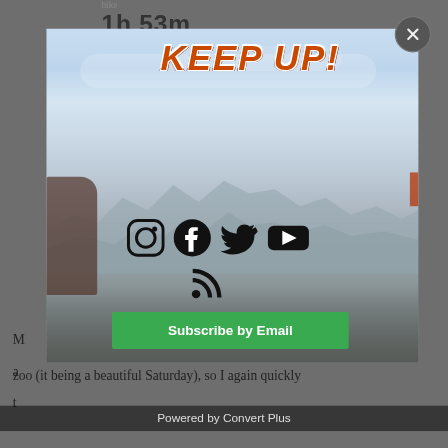hike
1h 53m
[Figure (screenshot): Modal popup overlay on a blog page showing 'KEEP UP!' title in orange italic bold text with white outline, mountain landscape background photo with blue sky and rocky peaks, social media icons (Instagram, Facebook, Twitter, YouTube, RSS feed), a green 'Subscribe by Email' button, and a close button (X) in top right corner. Below the modal partial page text reads 'zoo (it being a beautiful Saturday), so I again quickly'. Footer reads 'Powered by Convert Plus'.]